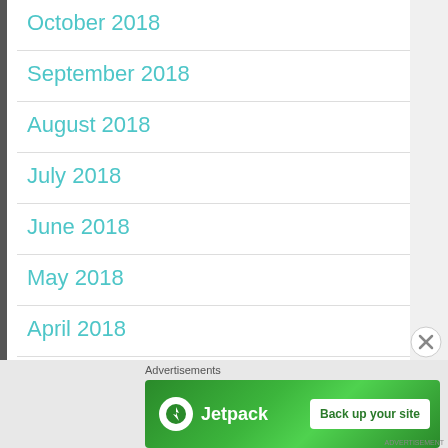October 2018
September 2018
August 2018
July 2018
June 2018
May 2018
April 2018
Advertisements
[Figure (other): Jetpack advertisement banner with logo and 'Back up your site' button on green background]